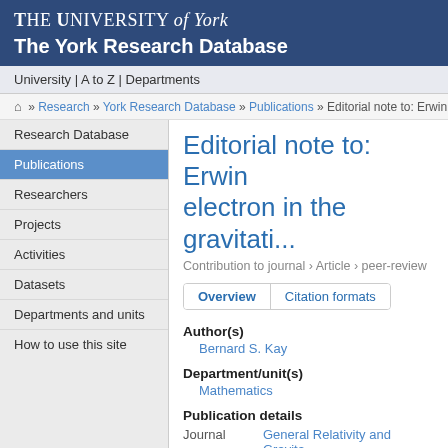The University of York — The York Research Database
University | A to Z | Departments
⌂ » Research » York Research Database » Publications » Editorial note to: Erwin Sc...
Research Database
Publications
Researchers
Projects
Activities
Datasets
Departments and units
How to use this site
Editorial note to: Erwin electron in the gravitati...
Contribution to journal › Article › peer-review
Overview | Citation formats
Author(s)
Bernard S. Kay
Department/unit(s)
Mathematics
Publication details
Journal   General Relativity and Gravita...